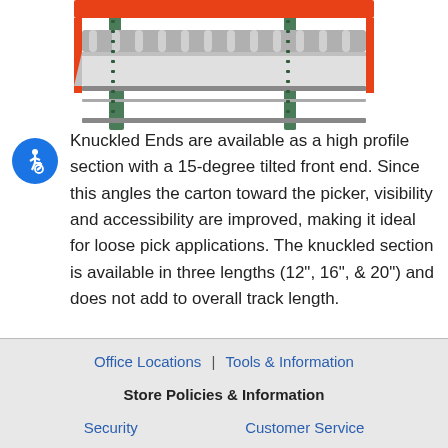[Figure (photo): Product photo of a conveyor/flow rack system with knuckled ends, showing orange/red rails and silver roller components mounted on green pallet racking.]
Knuckled Ends are available as a high profile section with a 15-degree tilted front end. Since this angles the carton toward the picker, visibility and accessibility are improved, making it ideal for loose pick applications. The knuckled section is available in three lengths (12", 16", & 20") and does not add to overall track length.
1-888-927-5212
Office Locations | Tools & Information
Store Policies & Information
Security   Customer Service